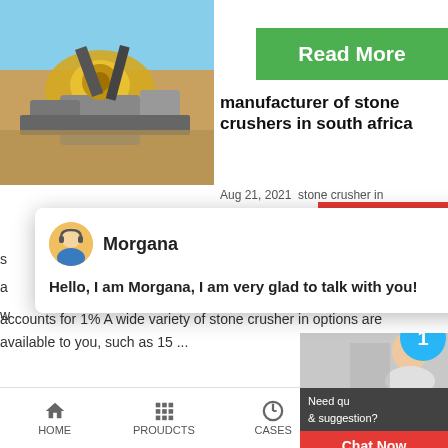[Figure (photo): Industrial stone crusher machinery, yellow and grey equipment outdoors]
[Figure (screenshot): Green Read More button]
manufacturer of stone crushers in south africa
Aug 21, 2021  stone crusher in
[Figure (screenshot): Red 24Hrs Online button]
accounts for 1% A wide variety of stone crusher in options are available to you, such as 15 ...
[Figure (photo): Second article image, dark green/black background]
[Figure (screenshot): Chat popup with Morgana avatar and greeting message]
[Figure (screenshot): Right sidebar with agent photo, notification badge (1), Need question & suggestion box, Chat Now button, Enquiry, limingjlmofen]
HOME   PROUDCTS   CASES   limingjlmofen